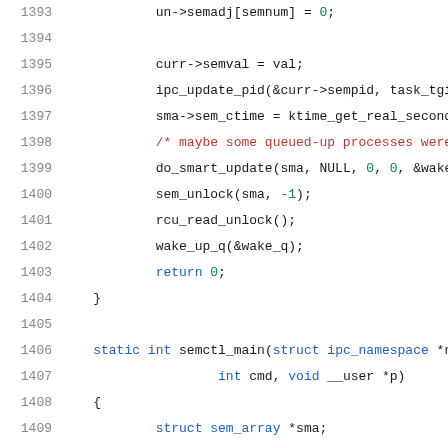Source code listing lines 1393-1414, C kernel code for semaphore control functions
[Figure (screenshot): C source code showing semaphore control implementation with syntax highlighting. Lines 1393-1414 showing un->semadj assignment, curr->semval assignment, ipc_update_pid call, sma->sem_ctime assignment, comment about queued processes, do_smart_update call, sem_unlock, rcu_read_unlock, wake_up_q, return 0, closing brace, blank line, static int semctl_main function declaration, opening brace, struct declarations, int err/nsems, ushort arrays.]